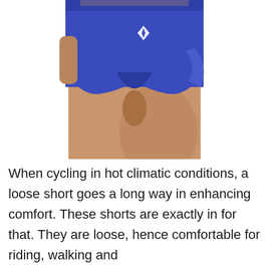[Figure (photo): Close-up photo of a person wearing bright blue athletic running shorts with a small white logo on the front. The shorts are short and loose-fitting, showing the model's legs and thighs. The background is white.]
When cycling in hot climatic conditions, a loose short goes a long way in enhancing comfort. These shorts are exactly in for that. They are loose, hence comfortable for riding, walking and